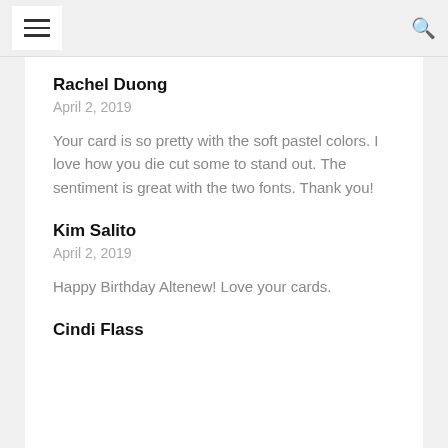menu | search
Rachel Duong
April 2, 2019
Your card is so pretty with the soft pastel colors. I love how you die cut some to stand out. The sentiment is great with the two fonts. Thank you!
Kim Salito
April 2, 2019
Happy Birthday Altenew! Love your cards.
Cindi Flass